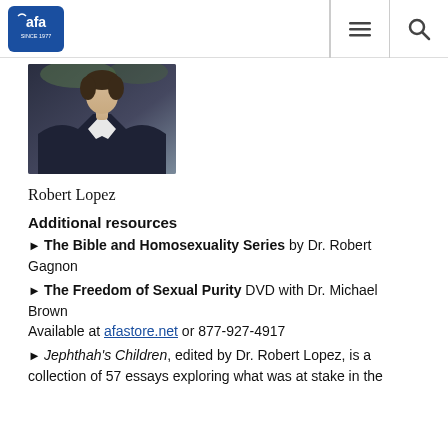AFA logo, navigation menu and search icons
[Figure (photo): Portrait photo of a man in a dark suit jacket and white shirt, outdoor background]
Robert Lopez
Additional resources
► The Bible and Homosexuality Series by Dr. Robert Gagnon
► The Freedom of Sexual Purity DVD with Dr. Michael Brown
Available at afastore.net or 877-927-4917
► Jephthah's Children, edited by Dr. Robert Lopez, is a collection of 57 essays exploring what was at stake in the